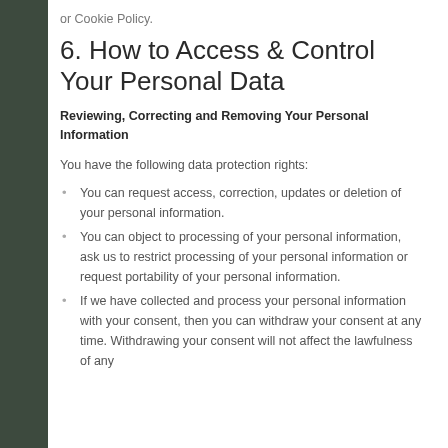or Cookie Policy.
6. How to Access & Control Your Personal Data
Reviewing, Correcting and Removing Your Personal Information
You have the following data protection rights:
You can request access, correction, updates or deletion of your personal information.
You can object to processing of your personal information, ask us to restrict processing of your personal information or request portability of your personal information.
If we have collected and process your personal information with your consent, then you can withdraw your consent at any time. Withdrawing your consent will not affect the lawfulness of any